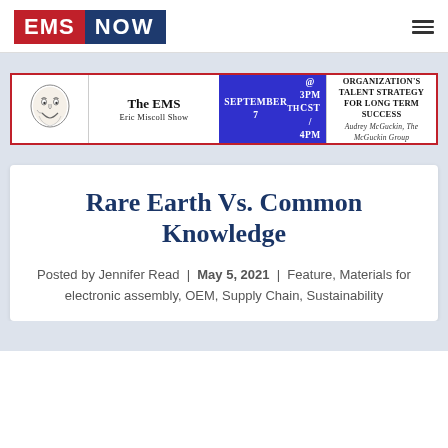EMS NOW
[Figure (infographic): Advertisement banner for The EMS Eric Miscoll Show - September 7th @ 3pm CST / 4pm EST - Structuring Your EMS Organization's Talent Strategy for Long Term Success, Audrey McGuckin, The McGuckin Group & Jim Kircher, CEO, Libra Industries]
Rare Earth Vs. Common Knowledge
Posted by Jennifer Read | May 5, 2021 | Feature, Materials for electronic assembly, OEM, Supply Chain, Sustainability